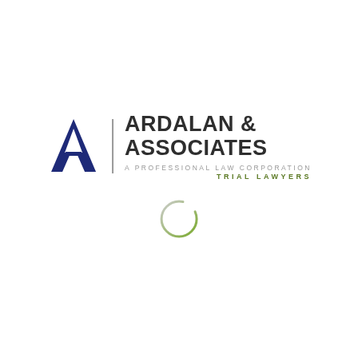[Figure (logo): Ardalan & Associates law firm logo. Features a large dark blue letter A with a vertical bar separator, followed by the firm name 'ARDALAN & ASSOCIATES' in bold dark gray, with 'A PROFESSIONAL LAW CORPORATION' in light gray and 'TRIAL LAWYERS' in green below. A partial circle graphic in light green/gray appears beneath the logo text.]